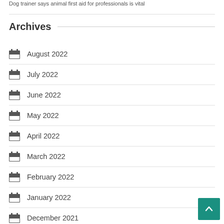Dog trainer says animal first aid for professionals is vital
Archives
August 2022
July 2022
June 2022
May 2022
April 2022
March 2022
February 2022
January 2022
December 2021
November 2021